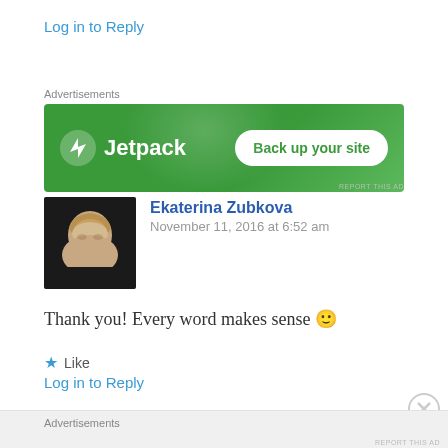Log in to Reply
Advertisements
[Figure (screenshot): Jetpack advertisement banner with green background showing Jetpack logo and 'Back up your site' button]
Ekaterina Zubkova
November 11, 2016 at 6:52 am
[Figure (photo): Profile photo of Ekaterina Zubkova, a blonde woman]
Thank you! Every word makes sense 🙂
Like
Log in to Reply
Advertisements